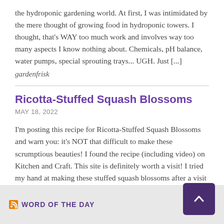the hydroponic gardening world. At first, I was intimidated by the mere thought of growing food in hydroponic towers. I thought, that's WAY too much work and involves way too many aspects I know nothing about. Chemicals, pH balance, water pumps, special sprouting trays... UGH. Just [...]
gardenfrisk
Ricotta-Stuffed Squash Blossoms
MAY 18, 2022
I'm posting this recipe for Ricotta-Stuffed Squash Blossoms and warn you: it's NOT that difficult to make these scrumptious beauties! I found the recipe (including video) on Kitchen and Craft. This site is definitely worth a visit! I tried my hand at making these stuffed squash blossoms after a visit to a local farm-to-table style [...]
gardenfrisk
WORD OF THE DAY